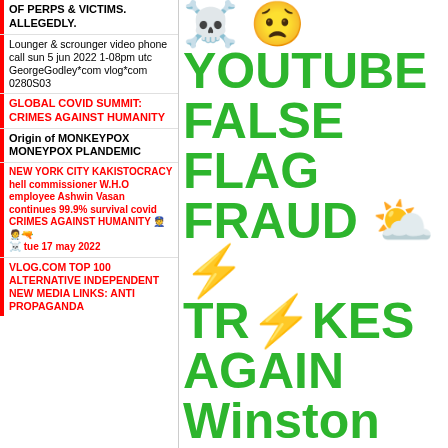OF PERPS & VICTIMS. ALLEGEDLY.
Lounger & scrounger video phone call sun 5 jun 2022 1-08pm utc GeorgeGodley*com vlog*com 0280S03
GLOBAL COVID SUMMIT: CRIMES AGAINST HUMANITY
Origin of MONKEYPOX MONEYPOX PLANDEMIC
NEW YORK CITY KAKISTOCRACY hell commissioner W.H.O employee Ashwin Vasan continues 99.9% survival covid CRIMES AGAINST HUMANITY 🚔🧑‍⚕️🔫☠️ tue 17 may 2022
VLOG.COM TOP 100 ALTERNATIVE INDEPENDENT NEW MEDIA LINKS: ANTI PROPAGANDA
☠️ 🙁YOUTUBE FALSE FLAG FRAUD ⛅⚡ TR⚡KES AGAIN Winston Wu Happierabroad videos after Free Trade Commission, Department of Justice, CNBC, WSJD 10,000 George Godley video theft reports